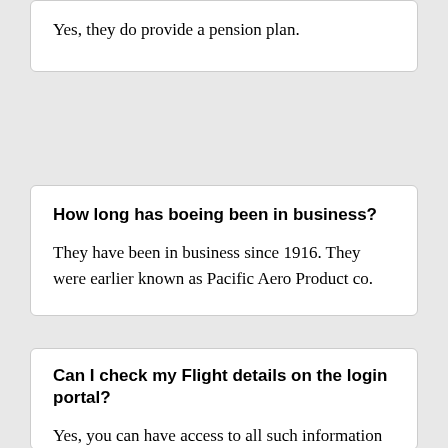Yes, they do provide a pension plan.
How long has boeing been in business?
They have been in business since 1916. They were earlier known as Pacific Aero Product co.
Can I check my Flight details on the login portal?
Yes, you can have access to all such information from anywhere. All you